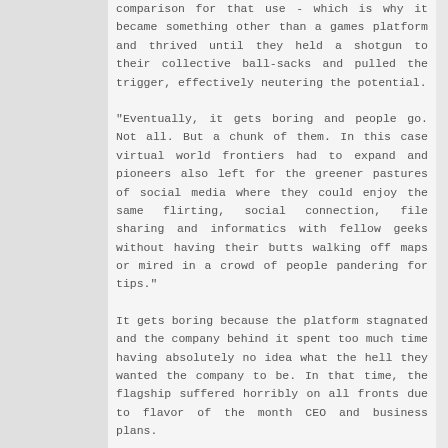comparison for that use - which is why it became something other than a games platform and thrived until they held a shotgun to their collective ball-sacks and pulled the trigger, effectively neutering the potential.
"Eventually, it gets boring and people go. Not all. But a chunk of them. In this case virtual world frontiers had to expand and pioneers also left for the greener pastures of social media where they could enjoy the same flirting, social connection, file sharing and informatics with fellow geeks without having their butts walking off maps or mired in a crowd of people pandering for tips."
It gets boring because the platform stagnated and the company behind it spent too much time having absolutely no idea what the hell they wanted the company to be. In that time, the flagship suffered horribly on all fronts due to flavor of the month CEO and business plans.